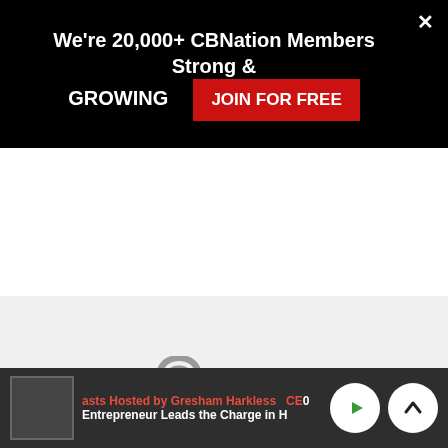[Figure (screenshot): Black banner ad: 'We're 20,000+ CBNation Members Strong & GROWING' with red JOIN FOR FREE button and white X close icon]
[Figure (screenshot): PodBean audio player embed widget on light gray background, showing PodBean logo and loading dots]
[Figure (screenshot): I AM CEO podcast hero banner with headphone logo, two circular photo badges of guests on a dark warm background]
[Figure (screenshot): Dark gray podcast player bar showing thumbnail, 'asts Hosted by Gresham Harkless CEO' title, 'Entrepreneur Leads the Charge in H' subtitle, green play button, and white up-chevron button]